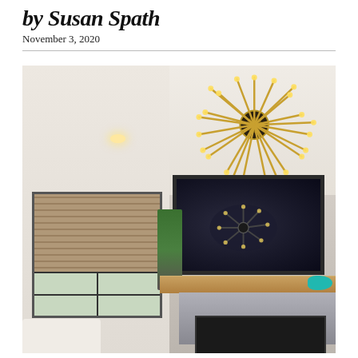by Susan Spath
November 3, 2020
[Figure (photo): Interior living room photo showing a modern farmhouse space with a sputnik-style gold chandelier on shiplap ceiling, a TV mounted above a wood-beam fireplace mantle with marble surround, a roman shade window on the left, a green plant, and a teal bird decorative object.]